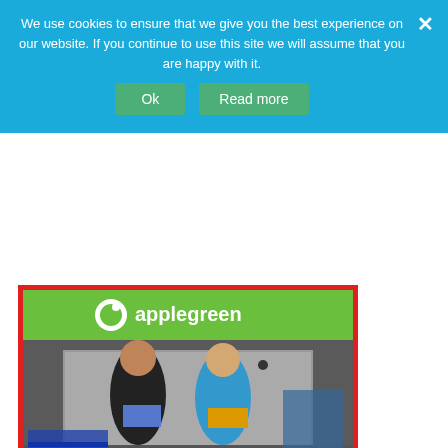We use cookies to ensure that we give you the best experience on our website. If you continue to use this site we will assume that you are happy with it.
Ok | Read more
[Figure (photo): Two women smiling and holding boxes outside an Applegreen petrol station store with green signage and red border around the photo.]
Sweet Treats!
29th April 2021  |  No Comments  |  News
Over the last couple of months, the Trust has been supported by Apple Green Garage in Uckfield who has collected and donated